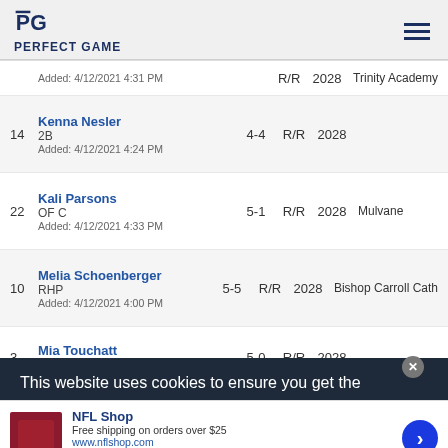PERFECT GAME
| # | Player | Height | Bat/Throw | Year | School |
| --- | --- | --- | --- | --- | --- |
|  | Added: 4/12/2021 4:31 PM |  |  | 2028 | Trinity Academy |
| 14 | Kenna Nesler
2B
Added: 4/12/2021 4:24 PM | 4-4 | R/R | 2028 |  |
| 22 | Kali Parsons
OF C
Added: 4/12/2021 4:33 PM | 5-1 | R/R | 2028 | Mulvane |
| 10 | Melia Schoenberger
RHP
Added: 4/12/2021 4:00 PM | 5-5 | R/R | 2028 | Bishop Carroll Cath |
| 3 | Mia Touchatt
MIF | 5-0 | R/R | 2028 |  |
This website uses cookies to ensure you get the
[Figure (infographic): NFL Shop advertisement banner. Red NFL equipment image on left. Text: NFL Shop, Free shipping on orders over $25, www.nflshop.com, SHOP NOW button. Blue arrow button on right.]